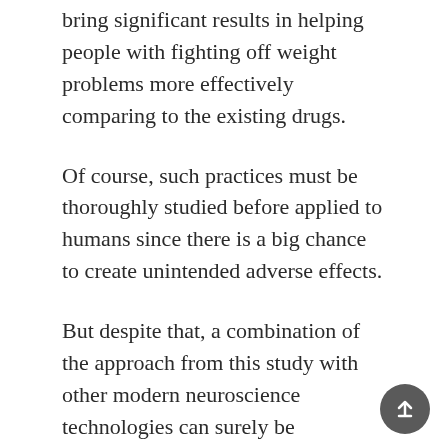bring significant results in helping people with fighting off weight problems more effectively comparing to the existing drugs.
Of course, such practices must be thoroughly studied before applied to humans since there is a big chance to create unintended adverse effects.
But despite that, a combination of the approach from this study with other modern neuroscience technologies can surely be revolutionary in the future.
“At the moment we’re only in the foothills of discovering how the brain works, particularly the appetite regulatory...